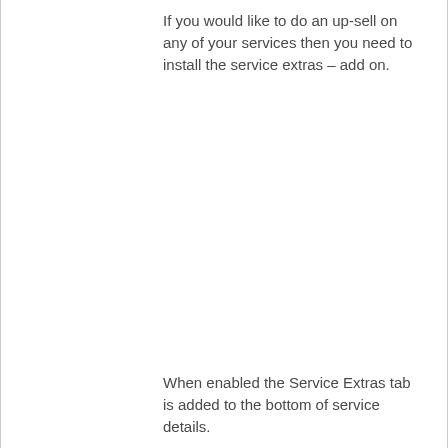If you would like to do an up-sell on any of your services then you need to install the service extras – add on.
When enabled the Service Extras tab is added to the bottom of service details.